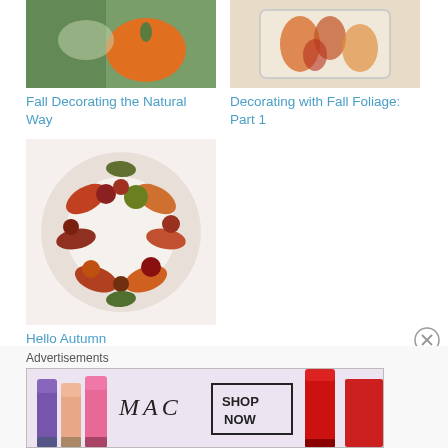[Figure (photo): Thumbnail photo of fall decorating with pumpkin and greenery]
Fall Decorating the Natural Way
[Figure (photo): Thumbnail photo of fall foliage decoration in a box]
Decorating with Fall Foliage: Part 1
[Figure (photo): Thumbnail photo of autumn wreath with fruits, leaves and berries]
Hello Autumn
This entry was posted in Autumn/Thanksgiving, Decorating Ideas, Gardening, Seasonal and tagged Autumn leaf color, Crafts, decorating, flowers, garden, Gourd, Hot-melt adhesive, pumpkin, ribbon, Wreath on September 23, 2011.
Advertisements
[Figure (photo): MAC cosmetics advertisement showing lipsticks with SHOP NOW button]